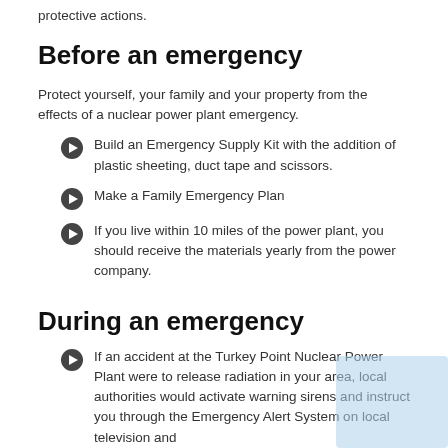protective actions.
Before an emergency
Protect yourself, your family and your property from the effects of a nuclear power plant emergency.
Build an Emergency Supply Kit with the addition of plastic sheeting, duct tape and scissors.
Make a Family Emergency Plan
If you live within 10 miles of the power plant, you should receive the materials yearly from the power company.
During an emergency
If an accident at the Turkey Point Nuclear Power Plant were to release radiation in your area, local authorities would activate warning sirens and instruct you through the Emergency Alert System on local television and